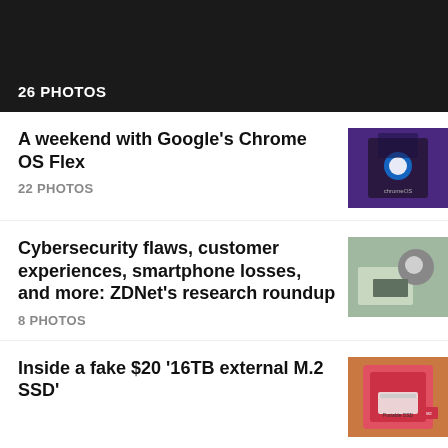[Figure (photo): Dark hero image with '26 PHOTOS' text overlay]
26 PHOTOS
A weekend with Google's Chrome OS Flex
22 PHOTOS
[Figure (photo): Person holding a device with Chrome OS Flex logo]
Cybersecurity flaws, customer experiences, smartphone losses, and more: ZDNet's research roundup
8 PHOTOS
[Figure (photo): Man with glasses sitting at a table with a laptop, thinking]
Inside a fake $20 '16TB external M.2 SSD'
[Figure (photo): Pink portable SSD product in packaging on a wooden surface]